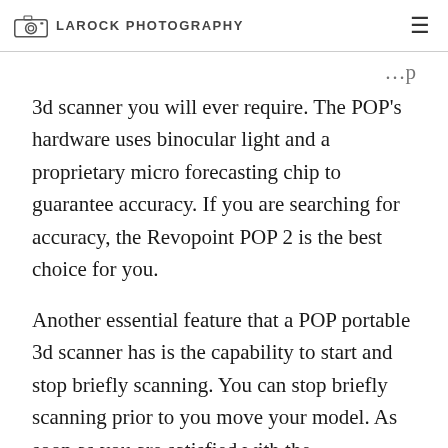LAROCK PHOTOGRAPHY
3d scanner you will ever require. The POP's hardware uses binocular light and a proprietary micro forecasting chip to guarantee accuracy. If you are searching for accuracy, the Revopoint POP 2 is the best choice for you.
Another essential feature that a POP portable 3d scanner has is the capability to start and stop briefly scanning. You can stop briefly scanning prior to you move your model. As soon as you are satisfied with the